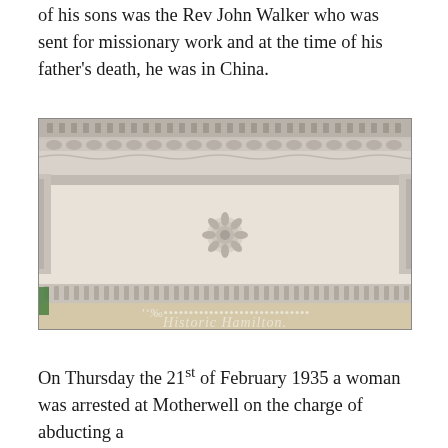of his sons was the Rev John Walker who was sent for missionary work and at the time of his father’s death, he was in China.
[Figure (photo): Photograph of an ornate plasterwork ceiling viewed from below, showing decorative cornice mouldings with dentil and egg-and-dart details, a central ceiling rose medallion, and a watermark reading 'Historic Hamilton' in italic script at the bottom.]
On Thursday the 21st of February 1935 a woman was arrested at Motherwell on the charge of abducting a